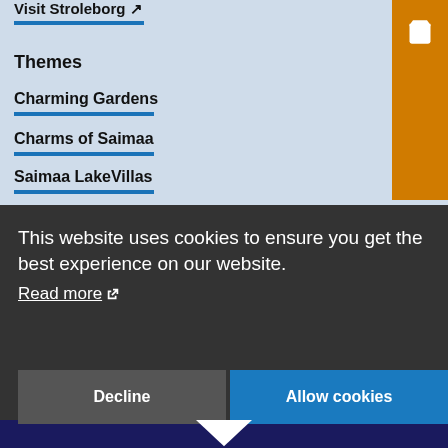Visit Stroleborg
Themes
Charming Gardens
Charms of Saimaa
Saimaa LakeVillas
This website uses cookies to ensure you get the best experience on our website.
Read more
Decline
Allow cookies